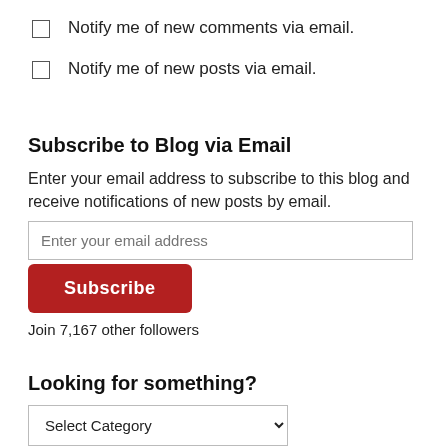Notify me of new comments via email.
Notify me of new posts via email.
Subscribe to Blog via Email
Enter your email address to subscribe to this blog and receive notifications of new posts by email.
Enter your email address
Subscribe
Join 7,167 other followers
Looking for something?
Select Category
Red Shoes Rock FASD Aware